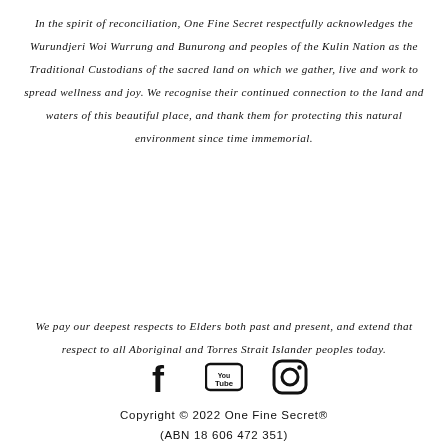In the spirit of reconciliation, One Fine Secret respectfully acknowledges the Wurundjeri Woi Wurrung and Bunurong and peoples of the Kulin Nation as the Traditional Custodians of the sacred land on which we gather, live and work to spread wellness and joy. We recognise their continued connection to the land and waters of this beautiful place, and thank them for protecting this natural environment since time immemorial.
We pay our deepest respects to Elders both past and present, and extend that respect to all Aboriginal and Torres Strait Islander peoples today.
[Figure (other): Social media icons: Facebook, YouTube, Instagram]
Copyright © 2022 One Fine Secret® (ABN 18 606 472 351)